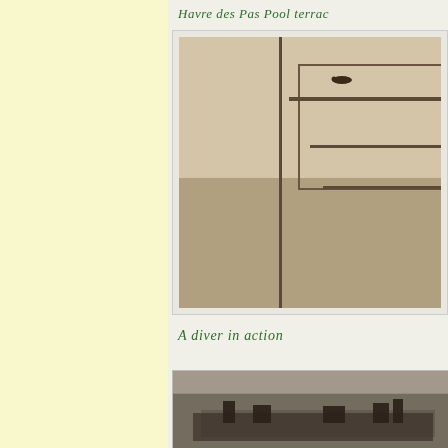Havre des Pas Pool terrac
[Figure (photo): Historical black and white photograph of a diver in action at Havre des Pas Pool, showing a figure in mid-air above a diving platform with spectators visible near the water below]
A diver in action
[Figure (photo): Historical panoramic black and white photograph showing a wide landscape view, likely of the Havre des Pas area with buildings visible in the distance]